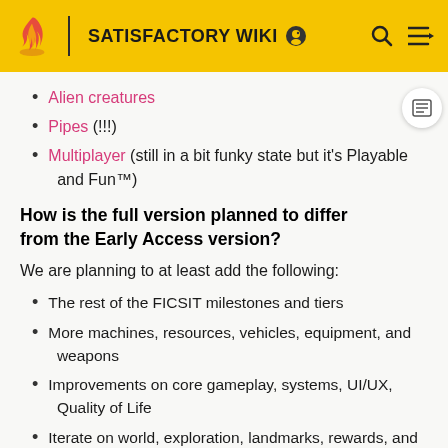SATISFACTORY WIKI
Alien creatures
Pipes (!!!)
Multiplayer (still in a bit funky state but it's Playable and Fun™)
How is the full version planned to differ from the Early Access version?
We are planning to at least add the following:
The rest of the FICSIT milestones and tiers
More machines, resources, vehicles, equipment, and weapons
Improvements on core gameplay, systems, UI/UX, Quality of Life
Iterate on world, exploration, landmarks, rewards, and creatures